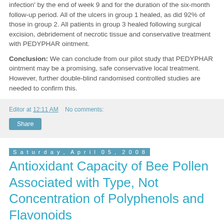infection' by the end of week 9 and for the duration of the six-month follow-up period. All of the ulcers in group 1 healed, as did 92% of those in group 2. All patients in group 3 healed following surgical excision, debridement of necrotic tissue and conservative treatment with PEDYPHAR ointment.
Conclusion: We can conclude from our pilot study that PEDYPHAR ointment may be a promising, safe conservative local treatment. However, further double-blind randomised controlled studies are needed to confirm this.
Editor at 12:11 AM   No comments:
Share
Saturday, April 05, 2008
Antioxidant Capacity of Bee Pollen Associated with Type, Not Concentration of Polyphenols and Flavonoids